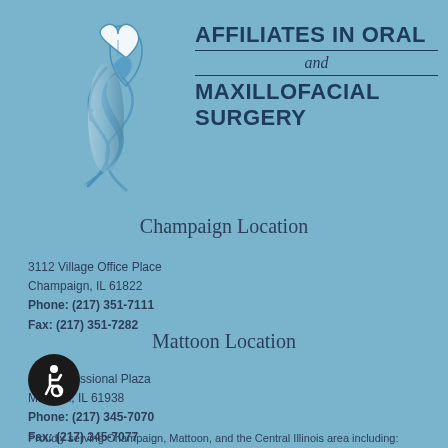[Figure (logo): Affiliates in Oral and Maxillofacial Surgery logo: stylized blue silhouette of a face with a tooth/heart shape above, forming an S-curve design]
AFFILIATES IN ORAL and MAXILLOFACIAL SURGERY
Champaign Location
3112 Village Office Place
Champaign, IL 61822
Phone: (217) 351-7111
Fax: (217) 351-7282
Mattoon Location
102 Professional Plaza
Mattoon, IL 61938
Phone: (217) 345-7070
Fax: (217) 345-7077
Proudly serving Champaign, Mattoon, and the Central Illinois area including: